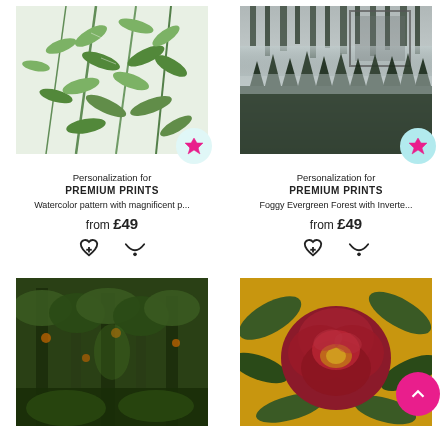[Figure (illustration): Watercolor pattern with tropical leaves on white background, with pink gem badge]
Personalization for
PREMIUM PRINTS
Watercolor pattern with magnificent p...
from £49
[Figure (illustration): Foggy evergreen forest with inverted reflection, black and white photo, with cyan gem badge]
Personalization for
PREMIUM PRINTS
Foggy Evergreen Forest with Inverte...
from £49
[Figure (illustration): Dark jungle painting with trees and animals, classic art style]
[Figure (illustration): Red peony flower on yellow background painting, with pink scroll-up FAB button]